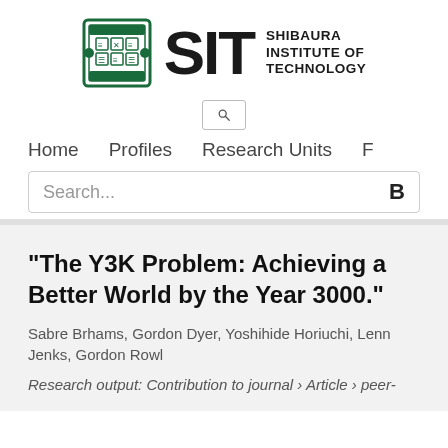[Figure (logo): Shibaura Institute of Technology logo with emblem, SIT text, and institution name]
[Figure (other): Search icon box with magnifying glass]
Home   Profiles   Research Units   F
Search...   B
"The Y3K Problem: Achieving a Better World by the Year 3000."
Sabre Brhams, Gordon Dyer, Yoshihide Horiuchi, Lenn Jenks, Gordon Rowl
Research output: Contribution to journal › Article › peer-